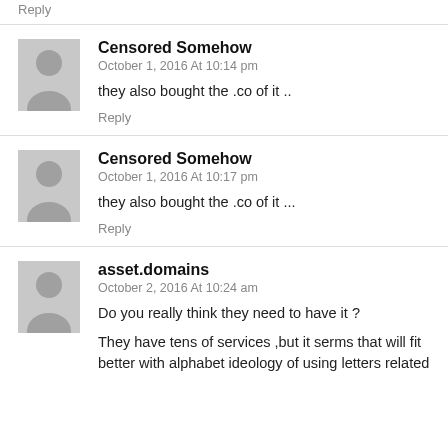Reply
Censored Somehow
October 1, 2016 At 10:14 pm
they also bought the .co of it ..
Reply
Censored Somehow
October 1, 2016 At 10:17 pm
they also bought the .co of it ...
Reply
asset.domains
October 2, 2016 At 10:24 am
Do you really think they need to have it ?
They have tens of services ,but it serms that will fit better with alphabet ideology of using letters related